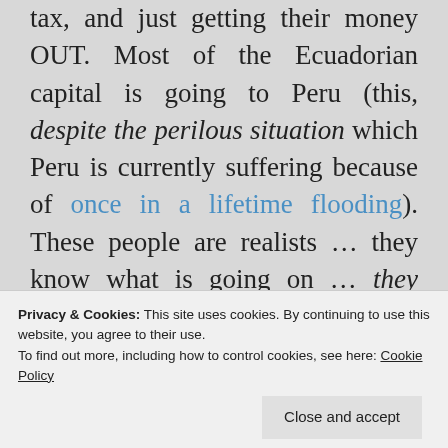tax, and just getting their money OUT. Most of the Ecuadorian capital is going to Peru (this, despite the perilous situation which Peru is currently suffering because of once in a lifetime flooding). These people are realists … they know what is going on … they have seen it all before.
As I said before, the purpose of this article is to inform, and educate, on the basis of my nearly decade on the ground here, watching the
Privacy & Cookies: This site uses cookies. By continuing to use this website, you agree to their use.
To find out more, including how to control cookies, see here: Cookie Policy
answer is that I've come to the sad conclusion I